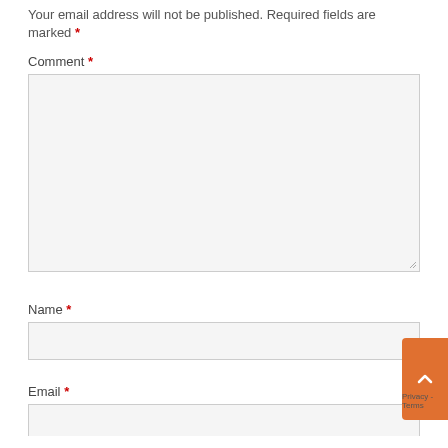Your email address will not be published. Required fields are marked *
Comment *
[Figure (screenshot): Large comment textarea input box with light gray background and resize handle]
Name *
[Figure (screenshot): Name text input field with light gray background]
Email *
[Figure (screenshot): Email text input field with light gray background (partially visible)]
[Figure (screenshot): Orange scroll-to-top button with upward chevron arrow, and Privacy - Terms text below]